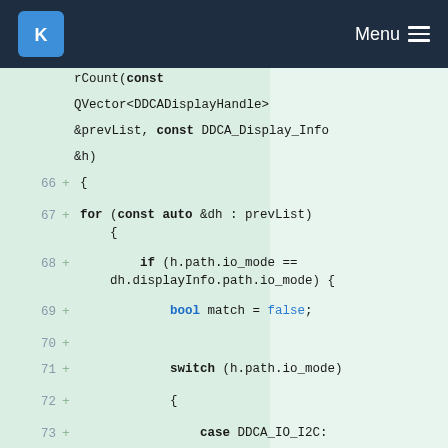KDE Menu
[Figure (screenshot): Code diff view showing C++ source lines 66-77 with syntax highlighting on a light green background. Lines show a function with for loop, if statement, bool declaration, switch statement, and case labels for DDCA_IO_I2C and DDCA_IO_USB.]